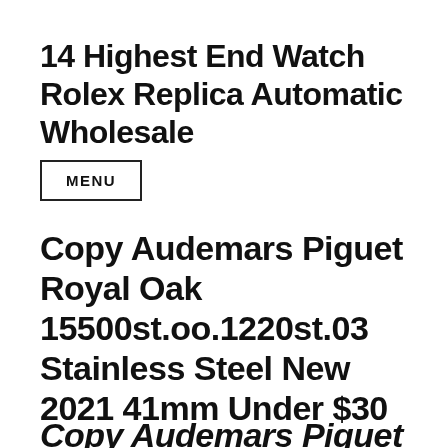14 Highest End Watch Rolex Replica Automatic Wholesale
MENU
Copy Audemars Piguet Royal Oak 15500st.oo.1220st.03 Stainless Steel New 2021 41mm Under $30
Copy Audemars Piguet